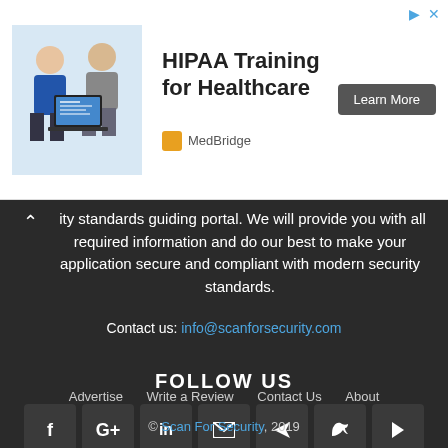[Figure (screenshot): Advertisement banner for HIPAA Training for Healthcare by MedBridge, showing two people looking at a laptop, with a 'Learn More' button]
rity standards guiding portal. We will provide you with all required information and do our best to make your application secure and compliant with modern security standards.
Contact us: info@scanforsecurity.com
FOLLOW US
[Figure (infographic): Row of social media icon buttons: Facebook, Google+, LinkedIn, Email, RSS, Twitter, YouTube]
Advertise   Write a Review   Contact Us   About
© Scan For Security, 2019